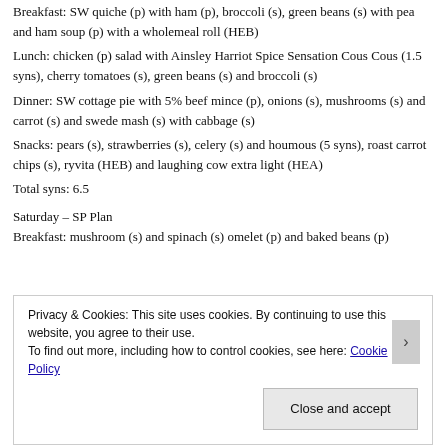Breakfast: SW quiche (p) with ham (p), broccoli (s), green beans (s) with pea and ham soup (p) with a wholemeal roll (HEB)
Lunch: chicken (p) salad with Ainsley Harriot Spice Sensation Cous Cous (1.5 syns), cherry tomatoes (s), green beans (s) and broccoli (s)
Dinner: SW cottage pie with 5% beef mince (p), onions (s), mushrooms (s) and carrot (s) and swede mash (s) with cabbage (s)
Snacks: pears (s), strawberries (s), celery (s) and houmous (5 syns), roast carrot chips (s), ryvita (HEB) and laughing cow extra light (HEA)
Total syns: 6.5
Saturday – SP Plan
Breakfast: mushroom (s) and spinach (s) omelet (p) and baked beans (p)
Privacy & Cookies: This site uses cookies. By continuing to use this website, you agree to their use.
To find out more, including how to control cookies, see here: Cookie Policy
Close and accept